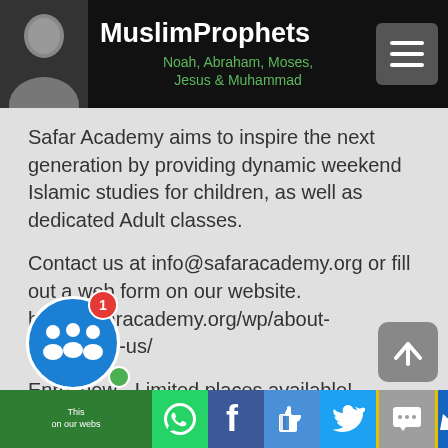MuslimProphets Noah, Abraham, Moses, Jesus & Muhammad
Safar Academy aims to inspire the next generation by providing dynamic weekend Islamic studies for children, as well as dedicated Adult classes.
Contact us at info@safaracademy.org or fill out a web form on our website. http://safaracademy.org/wp/about-us/contact-us/
Enrol now - Limited places available!
Website: http://www.safaracademy.org
Facebook:
www.facebook.com/SafarAcademy
This [share bar] on our webs[ite]